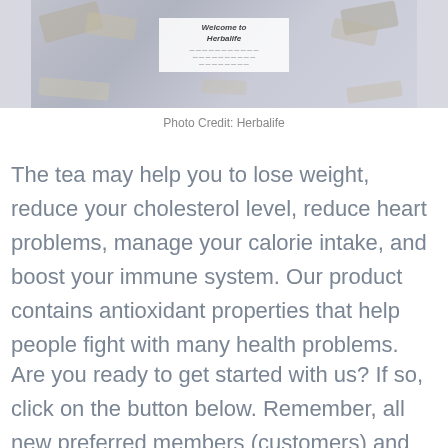[Figure (photo): Photo of Herbalife products including tea packets and a Welcome to Herbalife brochure or card arranged on a surface]
Photo Credit: Herbalife
The tea may help you to lose weight, reduce your cholesterol level, reduce heart problems, manage your calorie intake, and boost your immune system. Our product contains antioxidant properties that help people fight with many health problems.
Are you ready to get started with us? If so, click on the button below. Remember, all new preferred members (customers) and distributors need to